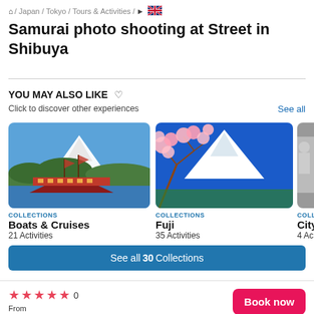⌂ / Japan / Tokyo / Tours & Activities / ▶ 🇬🇧
Samurai photo shooting at Street in Shibuya
YOU MAY ALSO LIKE ♡
Click to discover other experiences
[Figure (photo): Hakone sightseeing boat on lake with Mount Fuji in background]
COLLECTIONS
Boats & Cruises
21 Activities
[Figure (photo): Cherry blossoms with Mount Fuji in background under blue sky]
COLLECTIONS
Fuji
35 Activities
[Figure (photo): Partial view of city collection card]
COLL
City
4 Ac
See all 30 Collections
☆☆☆☆☆ 0
From
€122
Book now